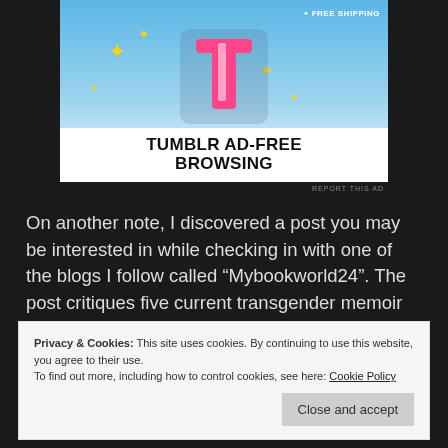[Figure (screenshot): Tumblr Ad-Free Browsing advertisement banner with Tumblr logo, sparkle stars on blue gradient background, and text '+ FREE SHIPPING' and 'TUMBLR AD-FREE BROWSING']
REPORT THIS AD
On another note, I discovered a post you may be interested in while checking in with one of the blogs I follow called “Mybookworld24”. The post critiques five current transgender memoir books. Go here to see it.
Privacy & Cookies: This site uses cookies. By continuing to use this website, you agree to their use.
To find out more, including how to control cookies, see here: Cookie Policy
Close and accept